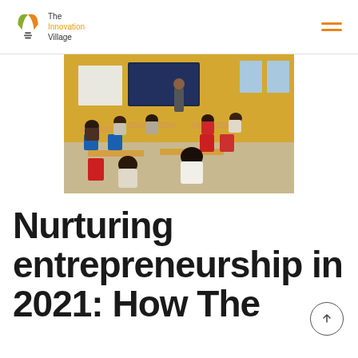The Innovation Village
[Figure (photo): A classroom scene showing students seated at desks working in groups, with a presenter standing near a large screen at the front. The room has yellow walls and colorful chairs.]
Nurturing entrepreneurship in 2021: How The